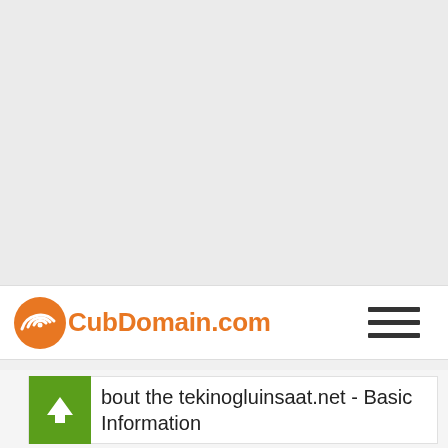[Figure (logo): CubDomain.com logo with orange spiral icon and orange text]
About the tekinogluinsaat.net - Basic Information